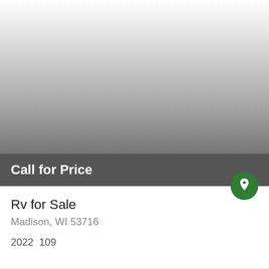[Figure (photo): Gradient image area representing a vehicle listing photo, fading from white at top to dark gray at bottom with a 'Call for Price' overlay text]
Call for Price
Rv for Sale
Madison, WI 53716
2022  109